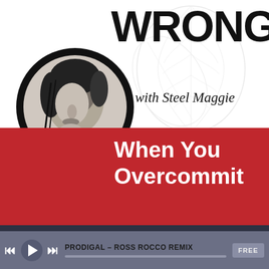[Figure (illustration): Podcast cover art for 'WRONG with Steel Maggie' episode 'When You Overcommit'. White background with decorative leaf illustration in gray, a circular black-and-white photo of a woman, bold black text 'WRONG', italic script 'with Steel Maggie', and a red band at the bottom with white bold text 'When You Overcommit'.]
WRONG
with Steel Maggie
When You Overcommit
[Figure (screenshot): Audio player bar with playback controls (skip back, play, skip forward), track name 'PRODIGAL - ROSS ROCCO REMIX', progress bar, and FREE badge button on dark gray background.]
PRODIGAL – ROSS ROCCO REMIX
FREE